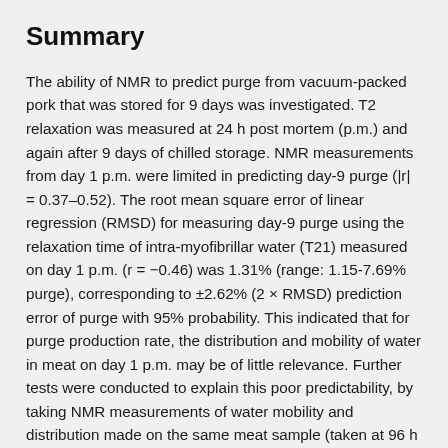Summary
The ability of NMR to predict purge from vacuum-packed pork that was stored for 9 days was investigated. T2 relaxation was measured at 24 h post mortem (p.m.) and again after 9 days of chilled storage. NMR measurements from day 1 p.m. were limited in predicting day-9 purge (|r| = 0.37–0.52). The root mean square error of linear regression (RMSD) for measuring day-9 purge using the relaxation time of intra-myofibrillar water (T21) measured on day 1 p.m. (r = −0.46) was 1.31% (range: 1.15-7.69% purge), corresponding to ±2.62% (2 × RMSD) prediction error of purge with 95% probability. This indicated that for purge production rate, the distribution and mobility of water in meat on day 1 p.m. may be of little relevance. Further tests were conducted to explain this poor predictability, by taking NMR measurements of water mobility and distribution made on the same meat sample (taken at 96 h p.m.) every day, during a 9-day storage